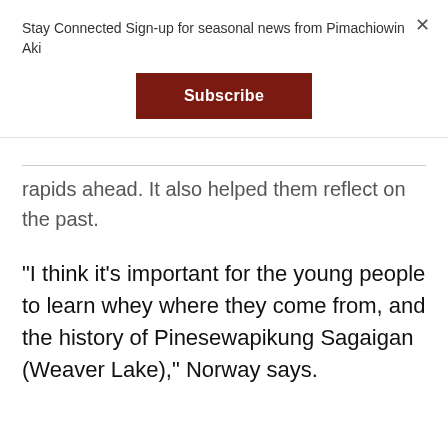Stay Connected Sign-up for seasonal news from Pimachiowin Aki
Subscribe
rapids ahead. It also helped them reflect on the past.
“I think it’s important for the young people to learn whey where they come from, and the history of Pinesewapikung Sagaigan (Weaver Lake),” Norway says.